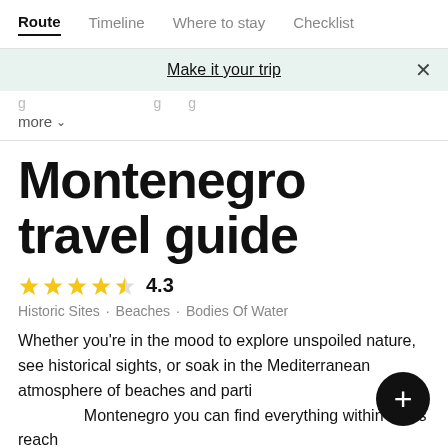Route | Timeline | Where to stay | Checklist
Make it your trip
more
Montenegro travel guide
4.3 stars — Historic Sites · Beaches · Bodies Of Water
Whether you're in the mood to explore unspoiled nature, see historical sights, or soak in the Mediterranean atmosphere of beaches and parti... Montenegro you can find everything within arm's reach